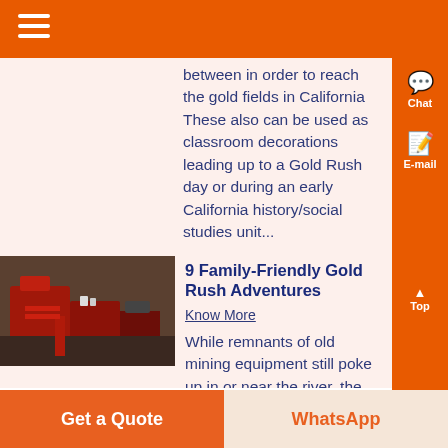between in order to reach the gold fields in California These also can be used as classroom decorations leading up to a Gold Rush day or during an early California history/social studies unit...
[Figure (photo): Photo of old red mining equipment machinery]
9 Family-Friendly Gold Rush Adventures
Know More
While remnants of old mining equipment still poke up in or near the river, the rush for gold has